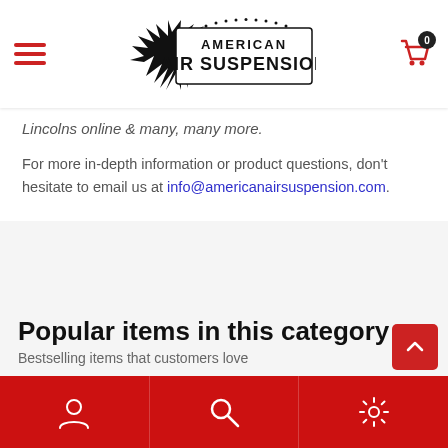American Air Suspension — navigation header with hamburger menu and cart
Lincolns online & many, many more.
For more in-depth information or product questions, don't hesitate to email us at info@americanairsuspension.com.
Popular items in this category
Bestselling items that customers love
[Figure (photo): Three air suspension product images shown as product cards in a horizontal row]
Bottom navigation bar with user, search, and settings icons